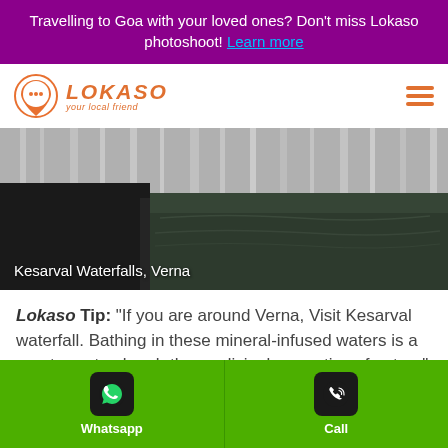Travelling to Goa with your loved ones? Don't miss Lokaso photoshoot! Learn more
[Figure (logo): Lokaso logo with orange map pin icon and text 'LOKASO your local friend']
[Figure (photo): Black and white photo of Kesarval Waterfalls, Verna with caption text overlay]
Lokaso Tip: “If you are around Verna, Visit Kesarval waterfall. Bathing in these mineral-infused waters is a great way to absorb the medicinal properties of nature”
Whatsapp | Call